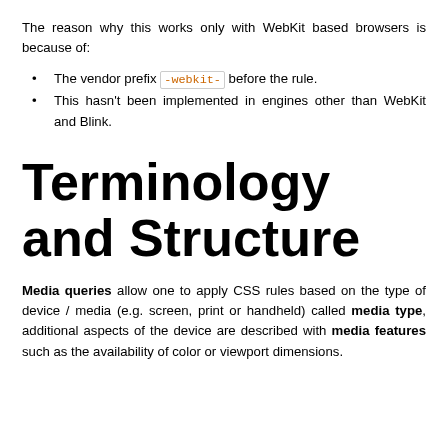The reason why this works only with WebKit based browsers is because of:
The vendor prefix -webkit- before the rule.
This hasn't been implemented in engines other than WebKit and Blink.
Terminology and Structure
Media queries allow one to apply CSS rules based on the type of device / media (e.g. screen, print or handheld) called media type, additional aspects of the device are described with media features such as the availability of color or viewport dimensions.